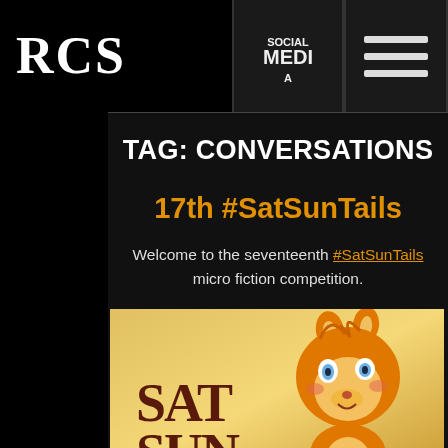RCS
TAG: CONVERSATIONS
17th #SatSunTails
Welcome to the seventeenth #SatSunTails micro fiction competition.
[Figure (illustration): Illustration of Tails (the fox character from Sonic) with text SAT SUN overlaid, on a yellow-orange gradient background. Watermark visible at bottom.]